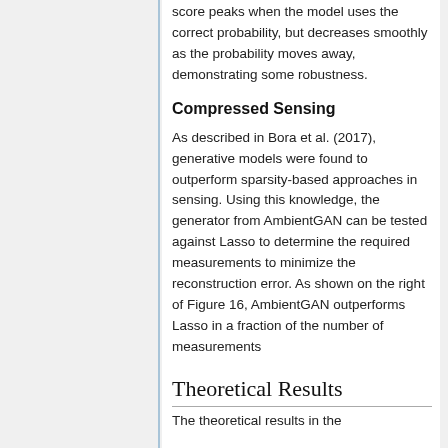score peaks when the model uses the correct probability, but decreases smoothly as the probability moves away, demonstrating some robustness.
Compressed Sensing
As described in Bora et al. (2017), generative models were found to outperform sparsity-based approaches in sensing. Using this knowledge, the generator from AmbientGAN can be tested against Lasso to determine the required measurements to minimize the reconstruction error. As shown on the right of Figure 16, AmbientGAN outperforms Lasso in a fraction of the number of measurements
Theoretical Results
The theoretical results in the